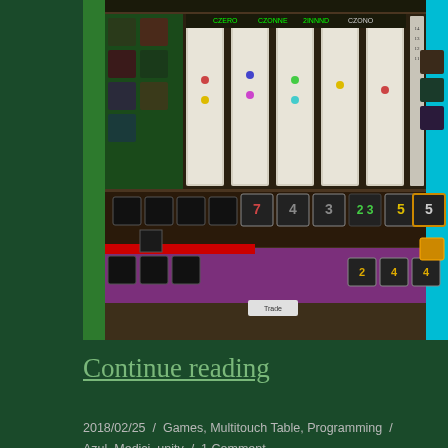[Figure (screenshot): Screenshot of a digital board game interface with card tracks, tokens, and game board elements on a dark brownish background with green and cyan borders]
Continue reading
2018/02/25 / Games, Multitiuch Table, Programming / Azul, Medici, unity / 1 Comment
Touch table Notre Dame
I've completed a touch table version of the board game Notre Dame. In Notre Dame,